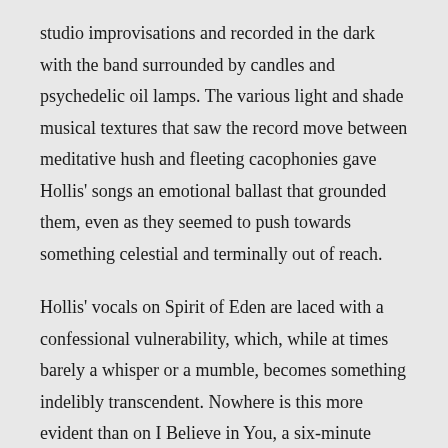studio improvisations and recorded in the dark with the band surrounded by candles and psychedelic oil lamps. The various light and shade musical textures that saw the record move between meditative hush and fleeting cacophonies gave Hollis' songs an emotional ballast that grounded them, even as they seemed to push towards something celestial and terminally out of reach.
Hollis' vocals on Spirit of Eden are laced with a confessional vulnerability, which, while at times barely a whisper or a mumble, becomes something indelibly transcendent. Nowhere is this more evident than on I Believe in You, a six-minute paean to Ed, who by the time it was released had fallen prey to the fatal effects of long-term heroin addiction.
A remixed and edited version of I Believe in You was released as a single, complete with a video featuring a largely static but